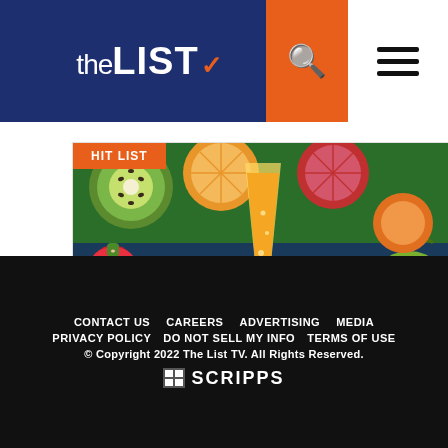theLIST
[Figure (photo): Colorful tropical fruits (kiwi, strawberries, oranges, blood oranges, apples, limes) with a champagne flute of orange juice in the center. Orange badge reading HIT LIST in top-left corner.]
Pressed Juice Cocktails
CONTACT US  CAREERS  ADVERTISING  MEDIA  PRIVACY POLICY  DO NOT SELL MY INFO  TERMS OF USE  © Copyright 2022 The List TV. All Rights Reserved.  SCRIPPS